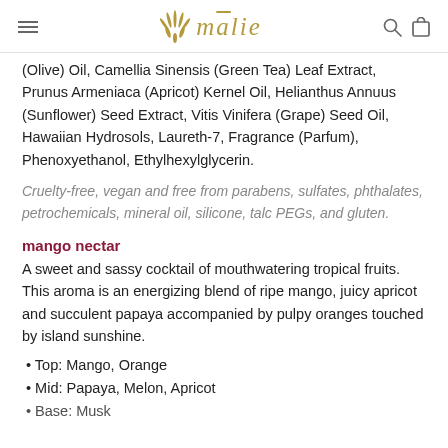mālie
(Olive) Oil, Camellia Sinensis (Green Tea) Leaf Extract, Prunus Armeniaca (Apricot) Kernel Oil, Helianthus Annuus (Sunflower) Seed Extract, Vitis Vinifera (Grape) Seed Oil, Hawaiian Hydrosols, Laureth-7, Fragrance (Parfum), Phenoxyethanol, Ethylhexylglycerin.
Cruelty-free, vegan and free from parabens, sulfates, phthalates, petrochemicals, mineral oil, silicone, talc PEGs, and gluten.
mango nectar
A sweet and sassy cocktail of mouthwatering tropical fruits. This aroma is an energizing blend of ripe mango, juicy apricot and succulent papaya accompanied by pulpy oranges touched by island sunshine.
• Top: Mango, Orange
• Mid: Papaya, Melon, Apricot
• Base: Musk